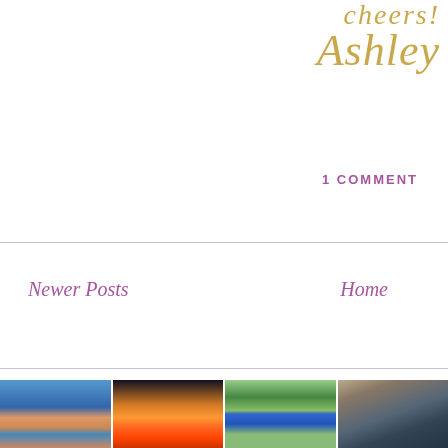[Figure (illustration): Cursive script signature reading 'cheers! Ashley' in gold/tan color, positioned top-right]
1 COMMENT
Newer Posts
Home
[Figure (photo): Four Instagram-style photos in a horizontal strip at the bottom: 1) Two women in floral dresses at an outdoor plaza with blue sky; 2) Woman holding a child at sunset with orange sky; 3) Woman holding child in garden with green lawn and Spanish-style building; 4) Woman in jeans and blue cardigan standing by stone column of rustic building]